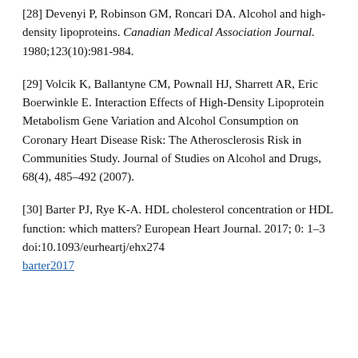[28] Devenyi P, Robinson GM, Roncari DA. Alcohol and high-density lipoproteins. Canadian Medical Association Journal. 1980;123(10):981-984.
[29] Volcik K, Ballantyne CM, Pownall HJ, Sharrett AR, Eric Boerwinkle E. Interaction Effects of High-Density Lipoprotein Metabolism Gene Variation and Alcohol Consumption on Coronary Heart Disease Risk: The Atherosclerosis Risk in Communities Study. Journal of Studies on Alcohol and Drugs, 68(4), 485–492 (2007).
[30] Barter PJ, Rye K-A. HDL cholesterol concentration or HDL function: which matters? European Heart Journal. 2017; 0: 1–3
doi:10.1093/eurheartj/ehx274
barter2017